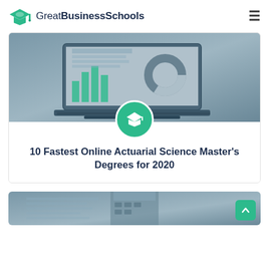GreatBusinessSchools
[Figure (photo): Laptop showing dashboard charts and analytics, grayscale/blue-tinted photo used as article card header image]
10 Fastest Online Actuarial Science Master's Degrees for 2020
[Figure (photo): Partial view of financial calculator and notebook, grayscale/blue-tinted photo used as second article card header image]